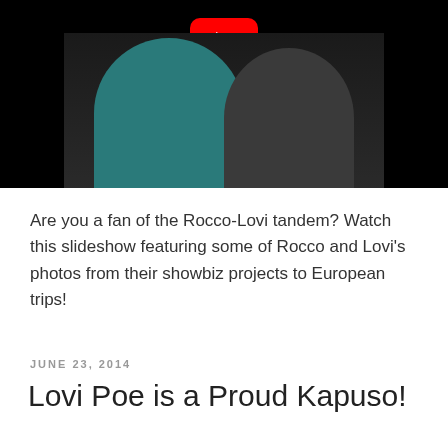[Figure (screenshot): YouTube video thumbnail showing a woman in teal/turquoise clothing with another person, YouTube play button overlay visible at top, black background]
Are you a fan of the Rocco-Lovi tandem? Watch this slideshow featuring some of Rocco and Lovi's photos from their showbiz projects to European trips!
JUNE 23, 2014
Lovi Poe is a Proud Kapuso!